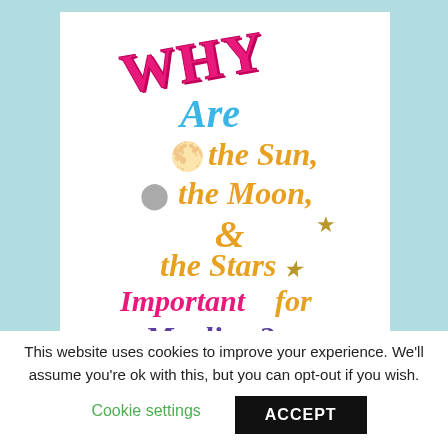[Figure (illustration): Book cover illustration with colorful text on white background asking 'Why Are the Sun, the Moon, & the Stars Important for Muslims?' with decorative sun, moon, and star icons. WHY in pink collegiate font, Are in blue italic, celestial body names in gold italic, Important in pink bold italic, for in gold italic, Muslims? in purple italic.]
This website uses cookies to improve your experience. We'll assume you're ok with this, but you can opt-out if you wish.
Cookie settings
ACCEPT